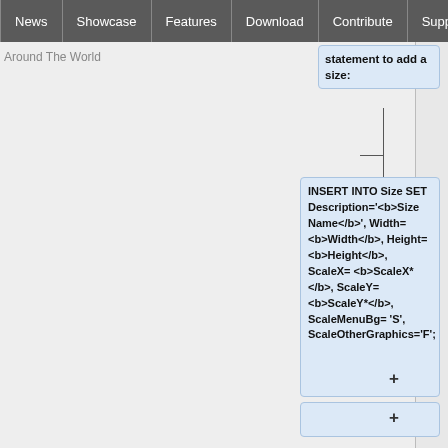News | Showcase | Features | Download | Contribute | Support
Around The World
statement to add a size:
INSERT INTO Size SET Description='<b>Size Name</b>', Width= <b>Width</b>, Height= <b>Height</b>, ScaleX= <b>ScaleX*</b>, ScaleY= <b>ScaleY*</b>, ScaleMenuBg= 'S', ScaleOtherGraphics='F';